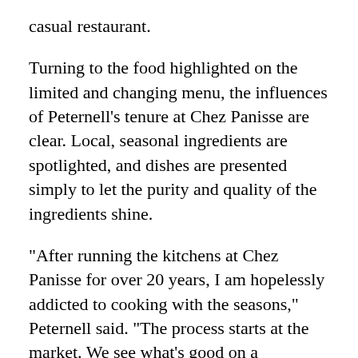casual restaurant.
Turning to the food highlighted on the limited and changing menu, the influences of Peternell’s tenure at Chez Panisse are clear. Local, seasonal ingredients are spotlighted, and dishes are presented simply to let the purity and quality of the ingredients shine.
“After running the kitchens at Chez Panisse for over 20 years, I am hopelessly addicted to cooking with the seasons,” Peternell said. “The process starts at the market. We see what’s good on a particular day and then make a menu around that.”
A “very crunchy salad” ($11), for example, featured a fall bounty of Pink Lady apples and